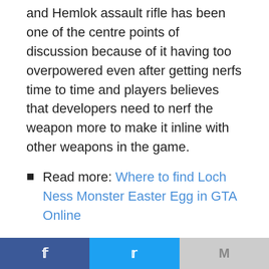and Hemlok assault rifle has been one of the centre points of discussion because of it having too overpowered even after getting nerfs time to time and players believes that developers need to nerf the weapon more to make it inline with other weapons in the game.
Read more: Where to find Loch Ness Monster Easter Egg in GTA Online
After another streamer tagged Respawn producer Josh Medina in Kobi's tweet, asking if he "got us" with fixing the Hemlok meta, Medina's response was quick and short, but very clear
Facebook | Twitter | Gmail